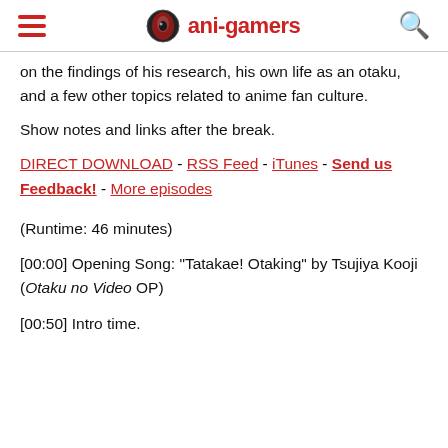ani-gamers
on the findings of his research, his own life as an otaku, and a few other topics related to anime fan culture.
Show notes and links after the break.
DIRECT DOWNLOAD - RSS Feed - iTunes - Send us Feedback! - More episodes
(Runtime: 46 minutes)
[00:00] Opening Song: "Tatakae! Otaking" by Tsujiya Kooji (Otaku no Video OP)
[00:50] Intro time.